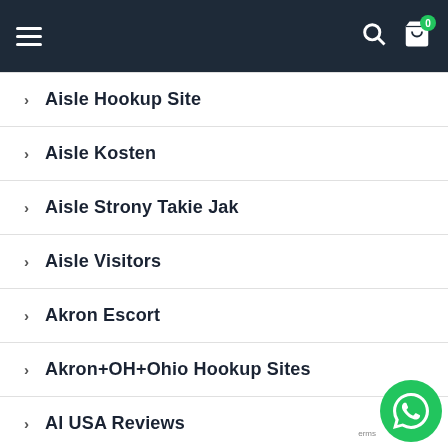Navigation bar with hamburger menu, search icon, and cart icon with badge 0
Aisle Hookup Site
Aisle Kosten
Aisle Strony Takie Jak
Aisle Visitors
Akron Escort
Akron+OH+Ohio Hookup Sites
Al USA Reviews
Albany USA Reviews
[Figure (illustration): WhatsApp floating action button bubble in bottom-right corner]